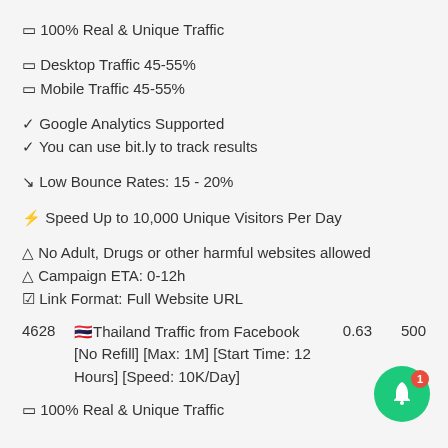🔲 100% Real & Unique Traffic
🔲 Desktop Traffic 45-55%
🔲 Mobile Traffic 45-55%
✓ Google Analytics Supported
✓ You can use bit.ly to track results
↘ Low Bounce Rates: 15 - 20%
⚡ Speed Up to 10,000 Unique Visitors Per Day
⚠ No Adult, Drugs or other harmful websites allowed
⚠ Campaign ETA: 0-12h
☑ Link Format: Full Website URL
| ID | Description | Price | Max |
| --- | --- | --- | --- |
| 4628 | 🇹🇭Thailand Traffic from Facebook [No Refill] [Max: 1M] [Start Time: 12 Hours] [Speed: 10K/Day] | 0.63 | 500 |
🔲 100% Real & Unique Traffic